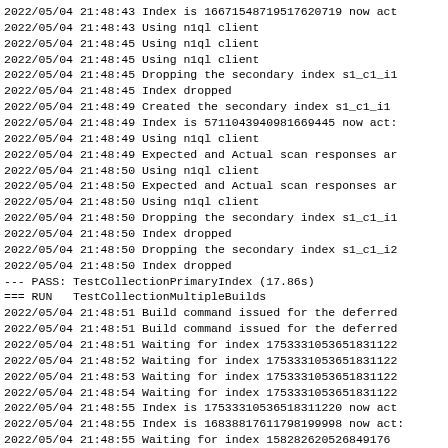2022/05/04 21:48:43 Index is 16671548719517620719 now act
2022/05/04 21:48:43 Using n1ql client
2022/05/04 21:48:45 Using n1ql client
2022/05/04 21:48:45 Using n1ql client
2022/05/04 21:48:45 Dropping the secondary index s1_c1_i1
2022/05/04 21:48:45 Index dropped
2022/05/04 21:48:49 Created the secondary index s1_c1_i1
2022/05/04 21:48:49 Index is 5711043940981669445 now act:
2022/05/04 21:48:49 Using n1ql client
2022/05/04 21:48:49 Expected and Actual scan responses ar
2022/05/04 21:48:50 Using n1ql client
2022/05/04 21:48:50 Expected and Actual scan responses ar
2022/05/04 21:48:50 Using n1ql client
2022/05/04 21:48:50 Dropping the secondary index s1_c1_i1
2022/05/04 21:48:50 Index dropped
2022/05/04 21:48:50 Dropping the secondary index s1_c1_i2
2022/05/04 21:48:50 Index dropped
--- PASS: TestCollectionPrimaryIndex (17.86s)
=== RUN   TestCollectionMultipleBuilds
2022/05/04 21:48:51 Build command issued for the deferred
2022/05/04 21:48:51 Build command issued for the deferred
2022/05/04 21:48:51 Waiting for index 17533310536518311222
2022/05/04 21:48:52 Waiting for index 17533310536518311222
2022/05/04 21:48:53 Waiting for index 17533310536518311222
2022/05/04 21:48:54 Waiting for index 17533310536518311222
2022/05/04 21:48:55 Index is 17533310536518311220 now act
2022/05/04 21:48:55 Index is 16838817611798199998 now act:
2022/05/04 21:48:55 Waiting for index 158282620526849176
2022/05/04 21:48:56 Waiting for index 158282620526849176
2022/05/04 21:48:57 Waiting for index 158282620526849176